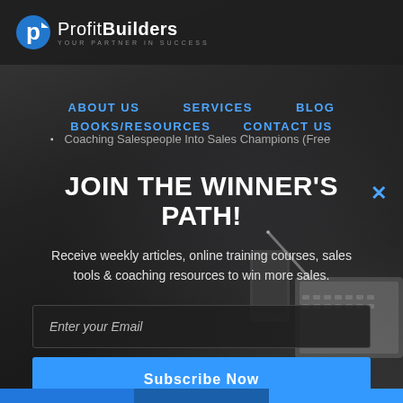[Figure (logo): Profit Builders logo with stylized 'p' icon and tagline 'YOUR PARTNER IN SUCCESS']
ABOUT US   SERVICES   BLOG   BOOKS/RESOURCES   CONTACT US
Coaching Salespeople Into Sales Champions (Free
JOIN THE WINNER'S PATH!
Receive weekly articles, online training courses, sales tools & coaching resources to win more sales.
Enter your Email
Subscribe Now
NO THANKS